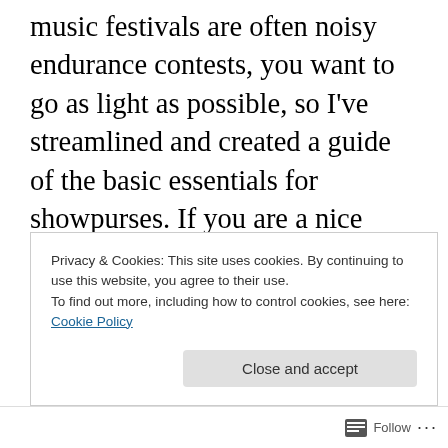music festivals are often noisy endurance contests, you want to go as light as possible, so I've streamlined and created a guide of the basic essentials for showpurses. If you are a nice female, you will find yourself carrying sunglass cases and keys and wallets of the men in your life, so picking out the perfect concert purse is very important. I've compiled a few types of bags and their pro's and con's, and included a Must Have Item List. Most of this was figured out by touring the country with Phish last year, when suddenly a good showpurse became as necessary as shoes. All advice works on the reqular ole
Privacy & Cookies: This site uses cookies. By continuing to use this website, you agree to their use.
To find out more, including how to control cookies, see here: Cookie Policy
Close and accept
Follow